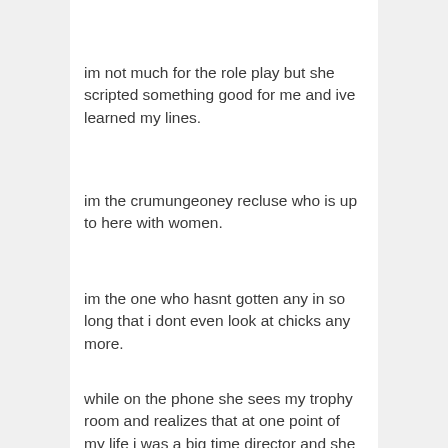im not much for the role play but she scripted something good for me and ive learned my lines.
im the crumungeoney recluse who is up to here with women.
im the one who hasnt gotten any in so long that i dont even look at chicks any more.
while on the phone she sees my trophy room and realizes that at one point of my life i was a big time director and she asks me about it and i tell her that i was a porno director and she is shocked and then curious and asks how a man wins an award in directing adult